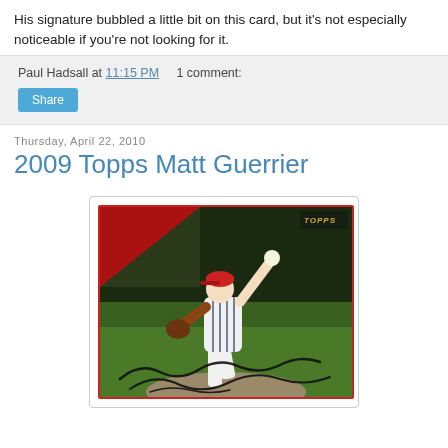His signature bubbled a little bit on this card, but it's not especially noticeable if you're not looking for it.
Paul Hadsall at 11:15 PM   1 comment:
Share
Thursday, April 22, 2010
2009 Topps Matt Guerrier
[Figure (photo): 2009 Topps baseball card of Matt Guerrier, showing him in a pitching stance wearing a Twins uniform, with an autograph/signature across the bottom of the card.]